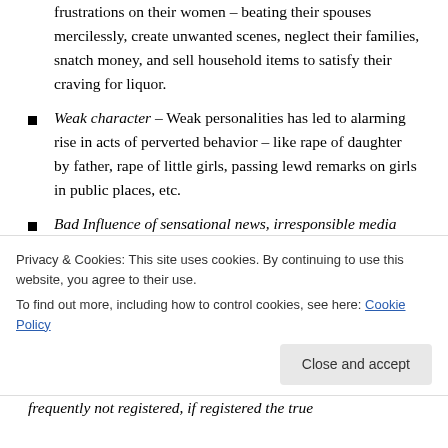frustrations on their women – beating their spouses mercilessly, create unwanted scenes, neglect their families, snatch money, and sell household items to satisfy their craving for liquor.
Weak character – Weak personalities has led to alarming rise in acts of perverted behavior – like rape of daughter by father, rape of little girls, passing lewd remarks on girls in public places, etc.
Bad Influence of sensational news, irresponsible media and movies on weak minds.
Deteriorating law and order situation – Former Law
Privacy & Cookies: This site uses cookies. By continuing to use this website, you agree to their use.
To find out more, including how to control cookies, see here: Cookie Policy
frequently not registered, if registered the true